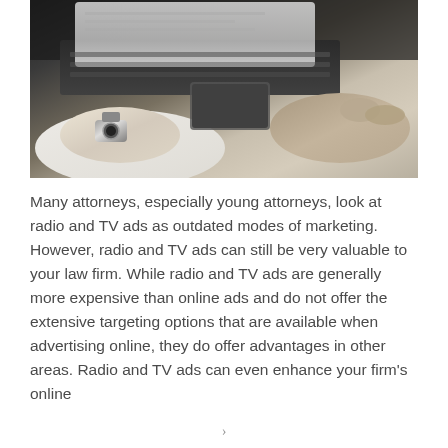[Figure (photo): A person in a white dress shirt and watch typing on a laptop keyboard, photographed from above and behind, with dark background.]
Many attorneys, especially young attorneys, look at radio and TV ads as outdated modes of marketing. However, radio and TV ads can still be very valuable to your law firm. While radio and TV ads are generally more expensive than online ads and do not offer the extensive targeting options that are available when advertising online, they do offer advantages in other areas. Radio and TV ads can even enhance your firm's online